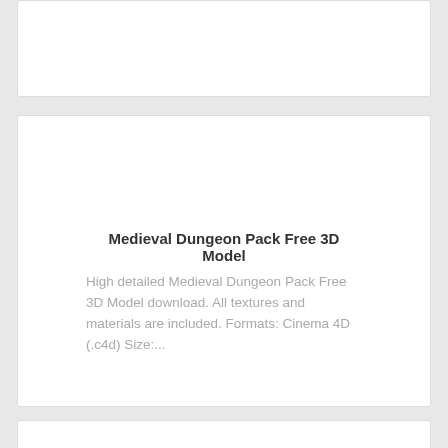[Figure (other): Top card - white card partially visible at top of page]
Medieval Dungeon Pack Free 3D Model
High detailed Medieval Dungeon Pack Free 3D Model download. All textures and materials are included. Formats: Cinema 4D (.c4d) Size:...
[Figure (other): Bottom card - white card partially visible at bottom of page]